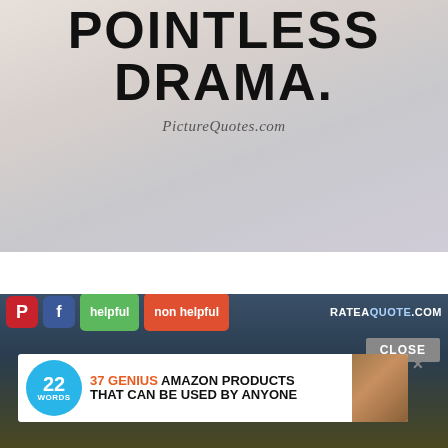[Figure (illustration): Quote image from PictureQuotes.com showing bold text 'POINTLESS DRAMA.' on a light gradient background, with the watermark 'PictureQuotes.com' in italic script below.]
[Figure (screenshot): Social media sharing toolbar with Pinterest and Facebook buttons, 'helpful' and 'non helpful' rating buttons, and RATEAQUOTE.COM branding, overlaid on a dark blue-green gradient background. Contains an ad banner: '37 GENIUS AMAZON PRODUCTS THAT CAN BE USED BY ANYONE' with 22 Words logo and a product image, plus a CLOSE button.]